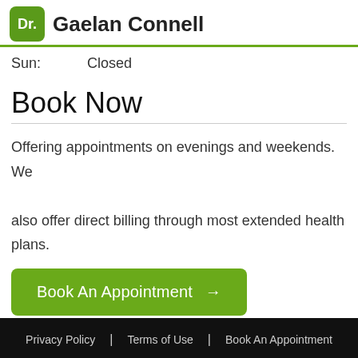Dr. Gaelan Connell
Sun:   Closed
Book Now
Offering appointments on evenings and weekends. We also offer direct billing through most extended health plans.
Book An Appointment →
Privacy Policy | Terms of Use | Book An Appointment